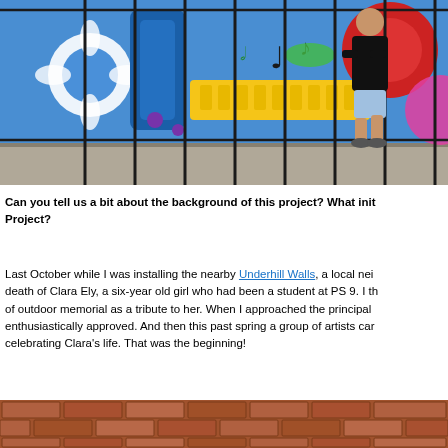[Figure (photo): A man in a black t-shirt and denim shorts stands in front of a colorful mural on a blue brick wall, with vertical metal fence bars in front. The mural features musical notes, geometric shapes, and bright colors including red, yellow, green, and blue.]
Can you tell us a bit about the background of this project? What initiated the Project?
Last October while I was installing the nearby Underhill Walls, a local neighbor told me about the tragic death of Clara Ely, a six-year old girl who had been a student at PS 9. I thought it would be nice to do some kind of outdoor memorial as a tribute to her. When I approached the principal of PS 9 with this idea she enthusiastically approved. And then this past spring a group of artists came together to create a series of murals celebrating Clara's life. That was the beginning!
[Figure (photo): Bottom portion of a red brick wall, partially visible at the bottom of the page.]